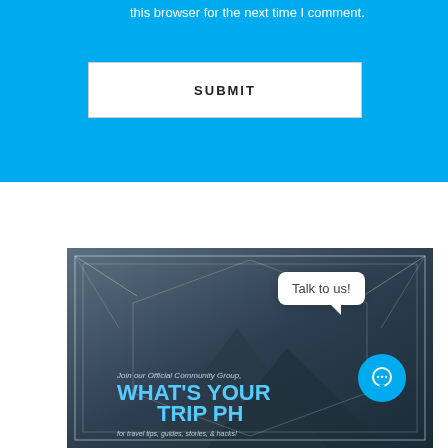this browser for the next time I comment.
SUBMIT
[Figure (illustration): Travel community banner with mountain background, decorative geometric lines, text reading 'Join our Official Community Group, WHAT'S YOUR TRIP PH, for travel tips, guides, stories, & hacks!']
Talk to us!